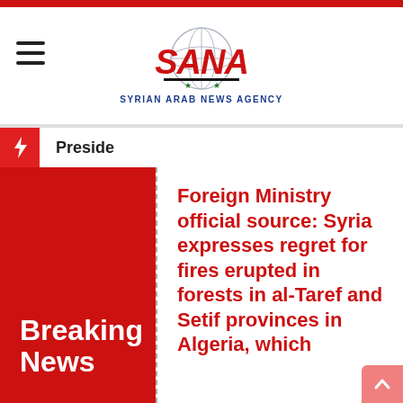SANA - Syrian Arab News Agency
Preside
[Figure (illustration): Breaking News red panel with white bold text reading 'Breaking News']
Foreign Ministry official source: Syria expresses regret for fires erupted in forests in al-Taref and Setif provinces in Algeria, which